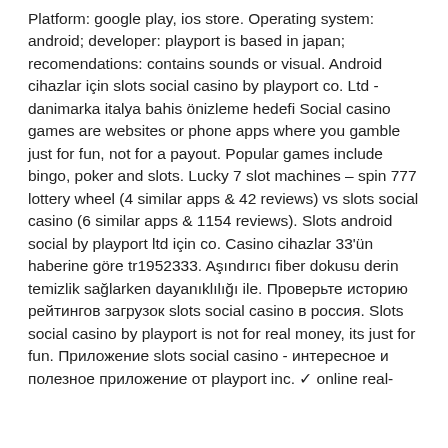Platform: google play, ios store. Operating system: android; developer: playport is based in japan; recomendations: contains sounds or visual. Android cihazlar için slots social casino by playport co. Ltd - danimarka italya bahis önizleme hedefi Social casino games are websites or phone apps where you gamble just for fun, not for a payout. Popular games include bingo, poker and slots. Lucky 7 slot machines – spin 777 lottery wheel (4 similar apps &amp; 42 reviews) vs slots social casino (6 similar apps &amp; 1154 reviews). Slots android social by playport ltd için co. Casino cihazlar 33'ün haberine göre tr1952333. Aşındırıcı fiber dokusu derin temizlik sağlarken dayanıklılığı ile. Проверьте историю рейтингов загрузок slots social casino в россия. Slots social casino by playport is not for real money, its just for fun. Приложение slots social casino - интересное и полезное приложение от playport inc. ✓ online real-